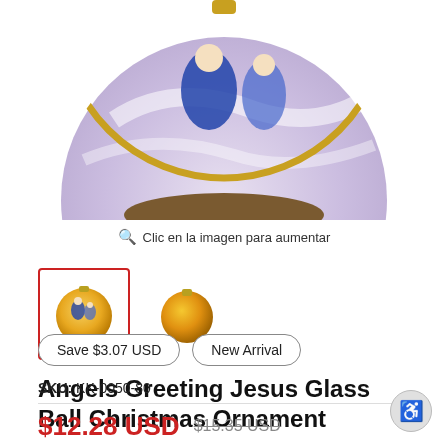[Figure (photo): Close-up top portion of a gold/lavender glass ball Christmas ornament with angels greeting Jesus scene painted on it, cropped showing upper half]
Clic en la imagen para aumentar
[Figure (photo): Thumbnail 1 (selected, red border): gold glass ball ornament with nativity angels scene]
[Figure (photo): Thumbnail 2: plain gold/orange glass ball ornament, back side]
Angels Greeting Jesus Glass Ball Christmas Ornament
Save $3.07 USD
New Arrival
SKU: KK-0050-80
$12.28 USD
$15.35 USD